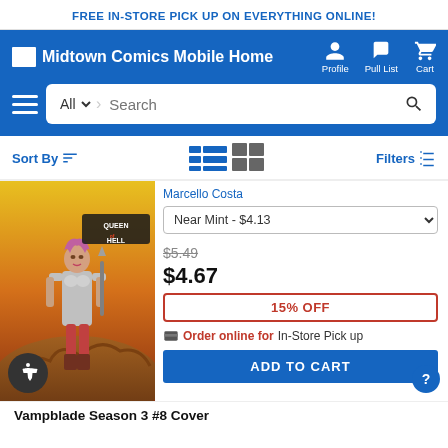FREE IN-STORE PICK UP ON EVERYTHING ONLINE!
Midtown Comics Mobile Home  Profile  Pull List  Cart
All  Search
Sort By  Filters
[Figure (illustration): Queen of Hell comic book cover art showing a female warrior character standing over enemies, with a yellow-orange hellish background]
Marcello Costa
Near Mint - $4.13
$5.49
$4.67
15% OFF
Order online for In-Store Pick up
ADD TO CART
Vampblade Season 3 #8 Cover